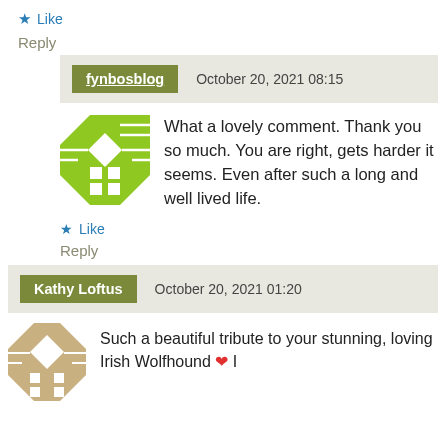★ Like
Reply
fynbosblog   October 20, 2021 08:15
[Figure (illustration): Green geometric quilt-pattern avatar for fynbosblog]
What a lovely comment. Thank you so much. You are right, gets harder it seems. Even after such a long and well lived life.
★ Like
Reply
Kathy Loftus   October 20, 2021 01:20
[Figure (illustration): Tan/beige geometric quilt-pattern avatar for Kathy Loftus]
Such a beautiful tribute to your stunning, loving Irish Wolfhound ❤ I